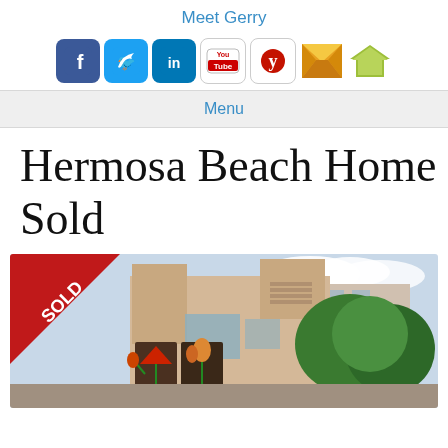Meet Gerry
[Figure (infographic): Social media icons row: Facebook, Twitter, LinkedIn, YouTube, Yelp, Email, Zillow]
Menu
Hermosa Beach Home Sold
[Figure (photo): Exterior photo of a sold Hermosa Beach home — a sandy-colored stucco building with flat roof and decorative artwork panels on facade, with green trees visible and a 'SOLD' banner overlay in the top-left corner]